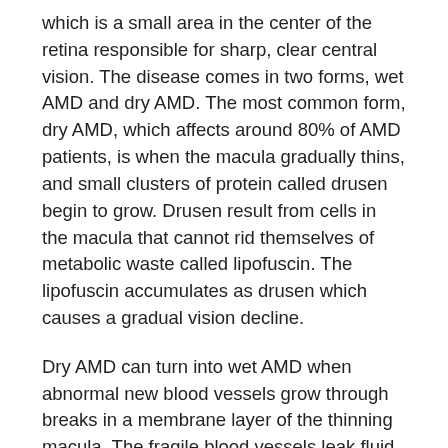which is a small area in the center of the retina responsible for sharp, clear central vision. The disease comes in two forms, wet AMD and dry AMD. The most common form, dry AMD, which affects around 80% of AMD patients, is when the macula gradually thins, and small clusters of protein called drusen begin to grow. Drusen result from cells in the macula that cannot rid themselves of metabolic waste called lipofuscin. The lipofuscin accumulates as drusen which causes a gradual vision decline.
Dry AMD can turn into wet AMD when abnormal new blood vessels grow through breaks in a membrane layer of the thinning macula. The fragile blood vessels leak fluid into the macula, causing rapid decrease in central vision.The wet form is less common, yet it can cause a faster and more drastic vision loss. If a person has dry AMD which turns into wet AMD, this should be treated as soon as possible, as within days this can cause permanent scarring. Fortunately, there is effective treatment for wet AMD if detected before scarring arises.
Both forms of AMD result in a loss of central vision, while peripheral vision stays intact. Symptoms can present as difficulty focusing on objects in front of you, and blurry or missing vision in...